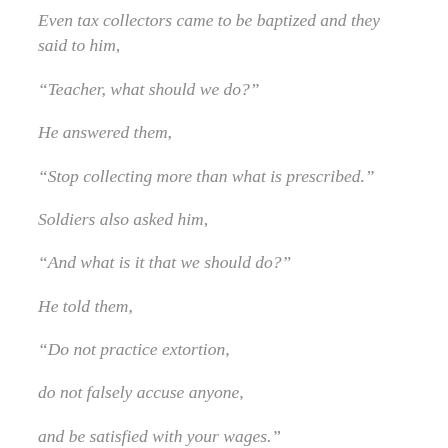Even tax collectors came to be baptized and they said to him,
“Teacher, what should we do?”
He answered them,
“Stop collecting more than what is prescribed.”
Soldiers also asked him,
“And what is it that we should do?”
He told them,
“Do not practice extortion,
do not falsely accuse anyone,
and be satisfied with your wages.”